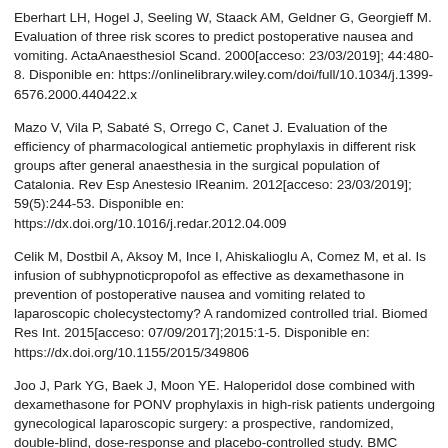Eberhart LH, Hogel J, Seeling W, Staack AM, Geldner G, Georgieff M. Evaluation of three risk scores to predict postoperative nausea and vomiting. ActaAnaesthesiol Scand. 2000[acceso: 23/03/2019]; 44:480-8. Disponible en: https://onlinelibrary.wiley.com/doi/full/10.1034/j.1399-6576.2000.440422.x
Mazo V, Vila P, Sabaté S, Orrego C, Canet J. Evaluation of the efficiency of pharmacological antiemetic prophylaxis in different risk groups after general anaesthesia in the surgical population of Catalonia. Rev Esp Anestesio lReanim. 2012[acceso: 23/03/2019]; 59(5):244-53. Disponible en: https://dx.doi.org/10.1016/j.redar.2012.04.009
Celik M, Dostbil A, Aksoy M, Ince I, Ahiskalioglu A, Comez M, et al. Is infusion of subhypnoticpropofol as effective as dexamethasone in prevention of postoperative nausea and vomiting related to laparoscopic cholecystectomy? A randomized controlled trial. Biomed Res Int. 2015[acceso: 07/09/2017];2015:1-5. Disponible en: https://dx.doi.org/10.1155/2015/349806
Joo J, Park YG, Baek J, Moon YE. Haloperidol dose combined with dexamethasone for PONV prophylaxis in high-risk patients undergoing gynecological laparoscopic surgery: a prospective, randomized, double-blind, dose-response and placebo-controlled study. BMC Anesthesiol. Jul 2015[acceso: 07/11/2017]; 15:99. Disponible en: